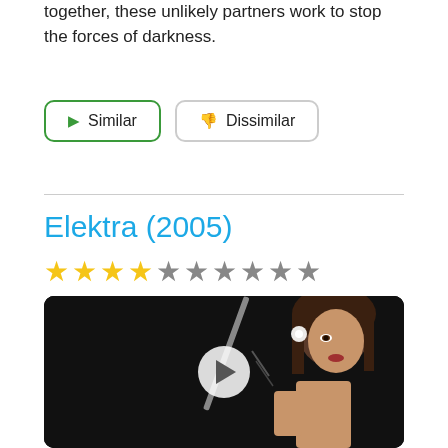together, these unlikely partners work to stop the forces of darkness.
▶ Similar
👎 Dissimilar
Elektra (2005)
[Figure (illustration): Movie thumbnail image showing a woman with dark hair holding a glowing weapon against a dark background, with a play button overlay.]